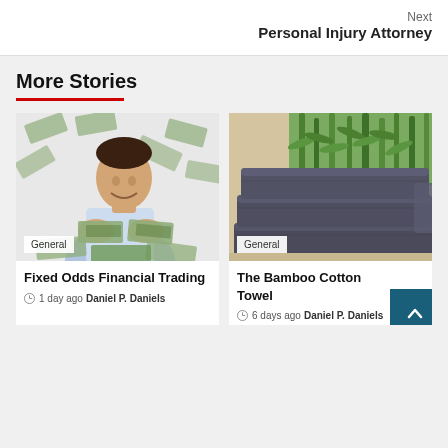Next
Personal Injury Attorney
More Stories
[Figure (photo): Man smiling surrounded by falling dollar bills holding cash, with 'General' category badge]
Fixed Odds Financial Trading
1 day ago  Daniel P. Daniels
[Figure (photo): Stack of folded dark grey/charcoal towels with green plant in background, with 'General' category badge]
The Bamboo Cotton Towel
6 days ago  Daniel P. Daniels